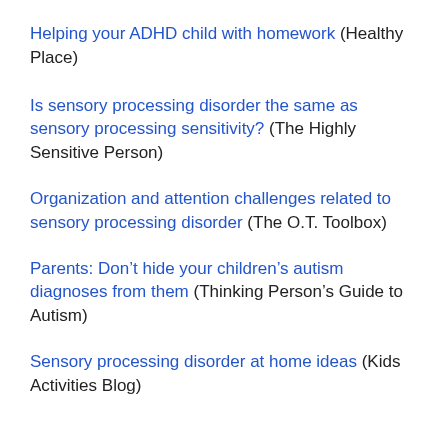Helping your ADHD child with homework (Healthy Place)
Is sensory processing disorder the same as sensory processing sensitivity? (The Highly Sensitive Person)
Organization and attention challenges related to sensory processing disorder (The O.T. Toolbox)
Parents: Don't hide your children's autism diagnoses from them (Thinking Person's Guide to Autism)
Sensory processing disorder at home ideas (Kids Activities Blog)